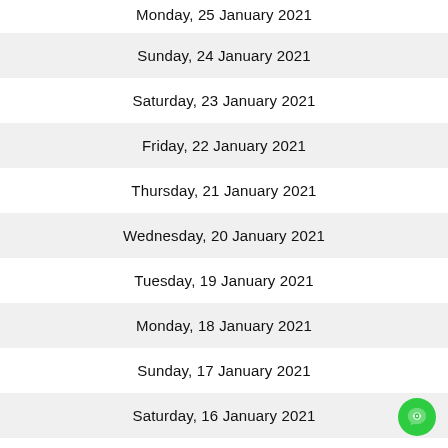Monday, 25 January 2021
Sunday, 24 January 2021
Saturday, 23 January 2021
Friday, 22 January 2021
Thursday, 21 January 2021
Wednesday, 20 January 2021
Tuesday, 19 January 2021
Monday, 18 January 2021
Sunday, 17 January 2021
Saturday, 16 January 2021